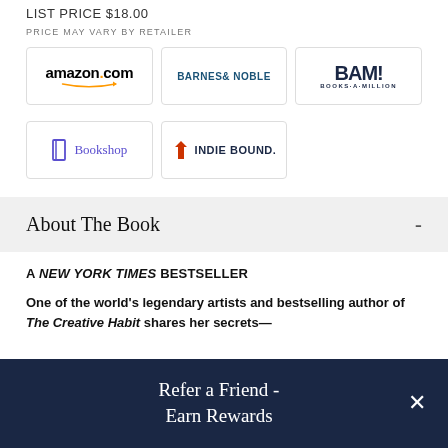LIST PRICE $18.00
PRICE MAY VARY BY RETAILER
[Figure (logo): amazon.com logo with orange arrow]
[Figure (logo): Barnes & Noble logo in dark blue]
[Figure (logo): BAM! Books-A-Million logo in navy]
[Figure (logo): Bookshop logo with purple B icon]
[Figure (logo): IndieBound logo with red bird icon]
About The Book -
A NEW YORK TIMES BESTSELLER
One of the world's legendary artists and bestselling author of The Creative Habit shares her secrets—
Refer a Friend - Earn Rewards